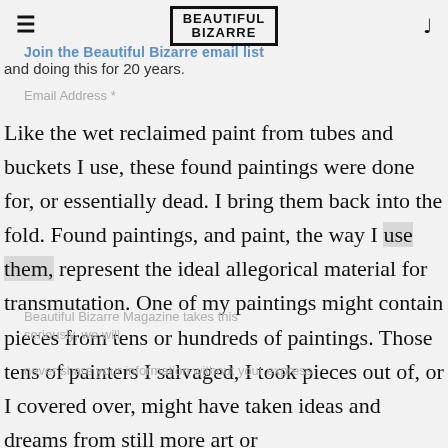BEAUTIFUL BIZARRE
Join the Beautiful Bizarre email list
and doing this for 20 years.
Email Address *
Like the wet reclaimed paint from tubes and buckets I use, these found paintings were done for, or essentially dead. I bring them back into the fold. Found paintings, and paint, the way I use them, represent the ideal allegorical material for transmutation. One of my paintings might contain pieces from tens or hundreds of paintings. Those tens of painters I salvaged, I took pieces out of, or I covered over, might have taken ideas and dreams from still more art or
Beautiful Bizarre Magazine takes this seriously, we will
never share your information without your express